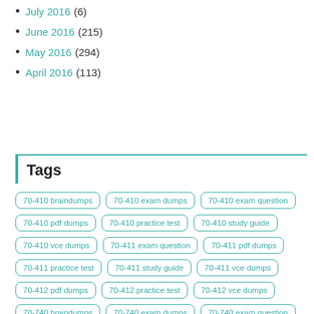July 2016 (6)
June 2016 (215)
May 2016 (294)
April 2016 (113)
Tags
70-410 braindumps
70-410 exam dumps
70-410 exam question
70-410 pdf dumps
70-410 practice test
70-410 study guide
70-410 vce dumps
70-411 exam question
70-411 pdf dumps
70-411 practice test
70-411 study guide
70-411 vce dumps
70-412 pdf dumps
70-412 practice test
70-412 vce dumps
70-740 braindumps
70-740 exam dumps
70-740 exam question
70-740 pdf dumps
70-740 practice test
70-740 study guide